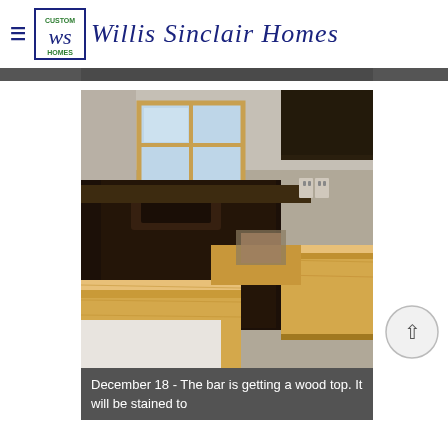Willis Sinclair Homes
[Figure (photo): Interior kitchen photo showing a wood bar top countertop in progress. Light natural wood countertop in foreground/right, dark lower cabinets, window with natural light in background, electrical outlets visible on wall.]
December 18 - The bar is getting a wood top. It will be stained to